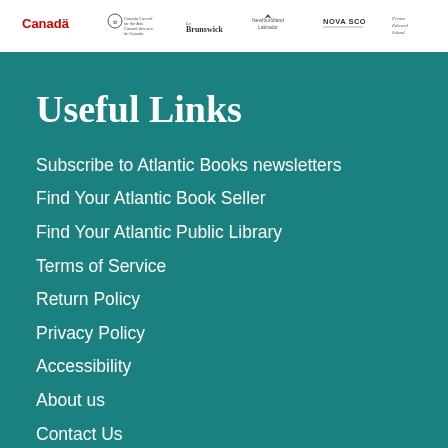[Figure (logo): Row of government and arts organization logos on white bar: Canada wordmark, Canada Council for the Arts, New Brunswick, Newfoundland Labrador, Nova Scotia, Prince Edward Island]
Useful Links
Subscribe to Atlantic Books newsletters
Find Your Atlantic Book Seller
Find Your Atlantic Public Library
Terms of Service
Return Policy
Privacy Policy
Accessibility
About us
Contact Us